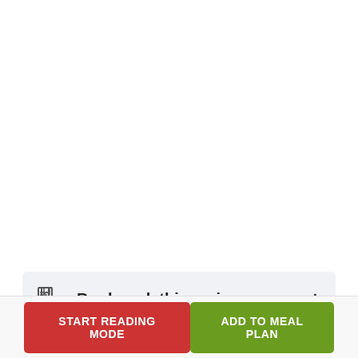Bookmark this recipe
You need to login or register to bookmark/favorite this content.
[Figure (screenshot): START READING MODE button (red) and ADD TO MEAL PLAN button (green) at the bottom of the page]